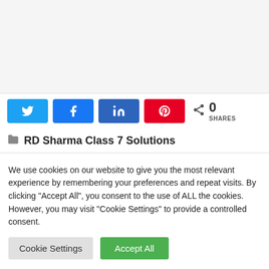[Figure (screenshot): Social share buttons row: Twitter (light blue), Facebook (blue), LinkedIn (dark blue), Pinterest (red), and a share count showing 0 SHARES]
RD Sharma Class 7 Solutions
We use cookies on our website to give you the most relevant experience by remembering your preferences and repeat visits. By clicking "Accept All", you consent to the use of ALL the cookies. However, you may visit "Cookie Settings" to provide a controlled consent.
Cookie Settings
Accept All